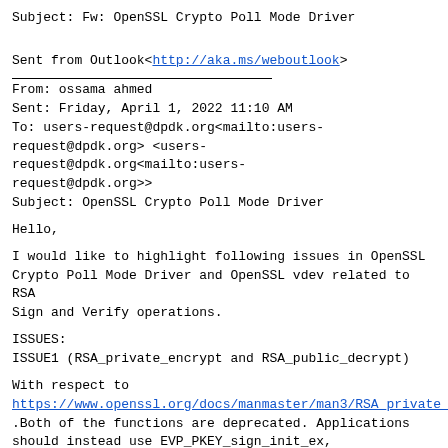Subject: Fw: OpenSSL Crypto Poll Mode Driver
Sent from Outlook<http://aka.ms/weboutlook>
From: ossama ahmed
Sent: Friday, April 1, 2022 11:10 AM
To: users-request@dpdk.org<mailto:users-request@dpdk.org> <users-request@dpdk.org<mailto:users-request@dpdk.org>>
Subject: OpenSSL Crypto Poll Mode Driver
Hello,
I would like to highlight following issues in OpenSSL Crypto Poll Mode Driver and OpenSSL vdev related to RSA Sign and Verify operations.
ISSUES:
ISSUE1 (RSA_private_encrypt and RSA_public_decrypt)
With respect to
https://www.openssl.org/docs/manmaster/man3/RSA_private_e
.Both of the functions are deprecated. Applications should instead use EVP_PKEY_sign_init_ex,
EVP_PKEY_sign, EVP_PKEY_verify_recover_init, and
EVP_PKEY_verify_recover.